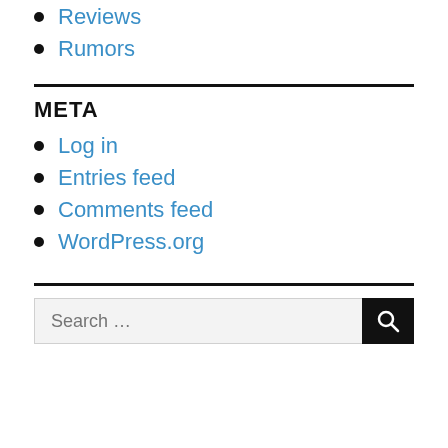Reviews
Rumors
META
Log in
Entries feed
Comments feed
WordPress.org